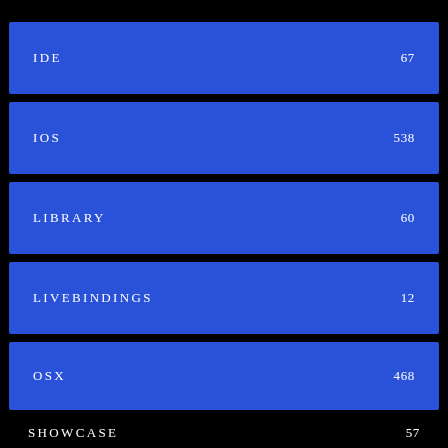IDE  67
IOS  538
LIBRARY  60
LIVEBINDINGS  12
OSX  468
SHOWCASE  57
UTILITY  78
WINDOWS  508